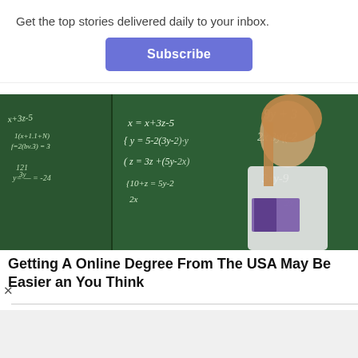Get the top stories delivered daily to your inbox.
Subscribe
[Figure (photo): Teacher or student standing in front of a green chalkboard covered with mathematical equations, holding books, wearing a white blazer]
Getting A Online Degree From The USA May Be Easier an You Think
[Figure (infographic): Advertisement banner with orange background saying 'Become a master of shooter!' with a DOWNLOAD NOW button and game graphics]